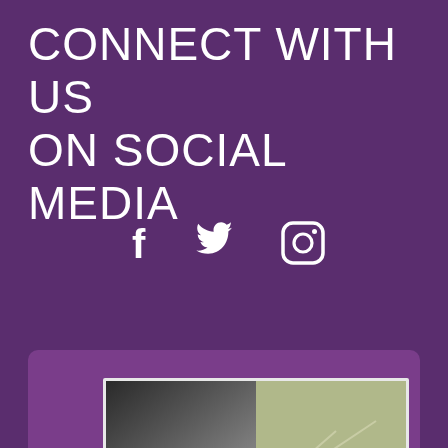CONNECT WITH US ON SOCIAL MEDIA
[Figure (illustration): Social media icons: Facebook (f), Twitter (bird), Instagram (camera) in white on purple background]
[Figure (screenshot): A meme image card showing two panels - left panel dark/rocky scene with text 'ME TRYING TO BUY A', right panel landscape scene with text 'MY PARENTS BUYING THEIR FIRST HOME IN THE 80S'. Overlaid with a 'Share This' button and a close X button.]